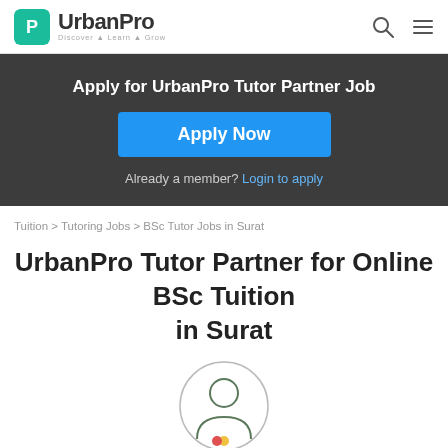UrbanPro Discover·Learn·Grow
Apply for UrbanPro Tutor Partner Job
Apply Now
Already a member? Login to apply
Tuition > Tutoring Jobs > BSc Tutor Jobs in Surat
UrbanPro Tutor Partner for Online BSc Tuition in Surat
[Figure (illustration): Circular avatar icon with a person silhouette]